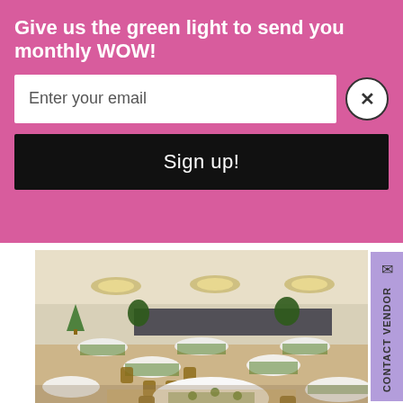Give us the green light to send you monthly WOW!
Enter your email
Sign up!
[Figure (photo): Interior of the Texas Star Ballroom at Doubletree Hotel Dallas/Richardson, showing round tables set for a banquet with white tablecloths, green napkins/centerpieces, and brown chairs. Large circular ceiling light fixtures are visible above.]
With its elegant Texas Star Ballroom and amenity-rich wedding packages, the Doubletree Hotel Dallas/Richardson Hotel is the crown of wedding venues in Richardson.